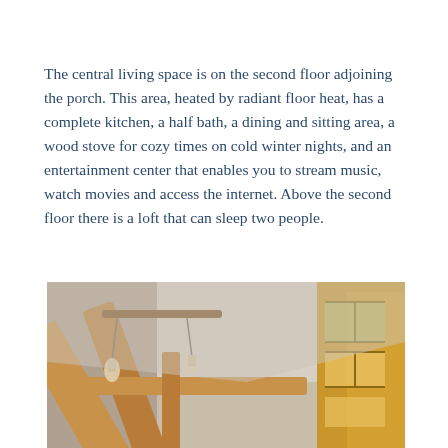The central living space is on the second floor adjoining the porch. This area, heated by radiant floor heat, has a complete kitchen, a half bath, a dining and sitting area, a wood stove for cozy times on cold winter nights, and an entertainment center that enables you to stream music, watch movies and access the internet. Above the second floor there is a loft that can sleep two people.
[Figure (photo): Interior photo of a timber-frame cabin showing wooden beams, vaulted ceiling, pendant light fixture hanging from a rustic wooden rod, and multiple windows letting in natural light.]